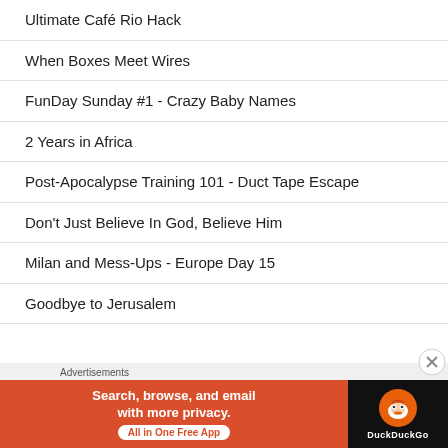Ultimate Café Rio Hack
When Boxes Meet Wires
FunDay Sunday #1 - Crazy Baby Names
2 Years in Africa
Post-Apocalypse Training 101 - Duct Tape Escape
Don't Just Believe In God, Believe Him
Milan and Mess-Ups - Europe Day 15
Goodbye to Jerusalem
[Figure (other): DuckDuckGo advertisement banner: 'Search, browse, and email with more privacy. All in One Free App' on orange background with DuckDuckGo logo on dark background, with close (X) button overlay]